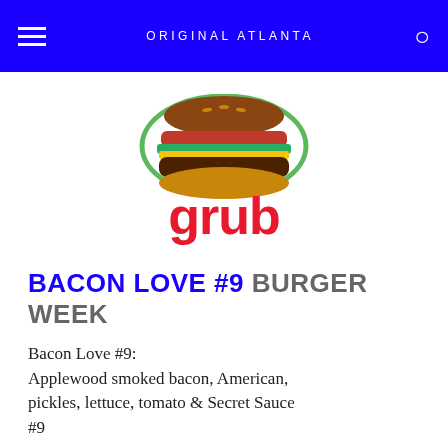ORIGINAL ATLANTA
[Figure (logo): Grub logo with burger image on top and red 'grub' text below, with green decorative border around burger]
BACON LOVE #9 BURGER WEEK
Bacon Love #9: Applewood smoked bacon, American, pickles, lettuce, tomato & Secret Sauce #9